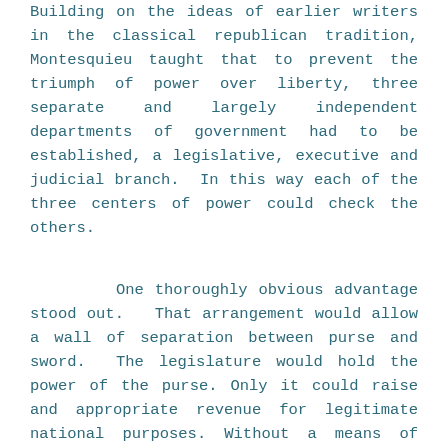Building on the ideas of earlier writers in the classical republican tradition, Montesquieu taught that to prevent the triumph of power over liberty, three separate and largely independent departments of government had to be established, a legislative, executive and judicial branch.  In this way each of the three centers of power could check the others.
One thoroughly obvious advantage stood out.  That arrangement would allow a wall of separation between purse and sword.  The legislature would hold the power of the purse. Only it could raise and appropriate revenue for legitimate national purposes. Without a means of raising revenue to support his untoward ambitions, the executive could do what it is his to do, wield the power of the sword